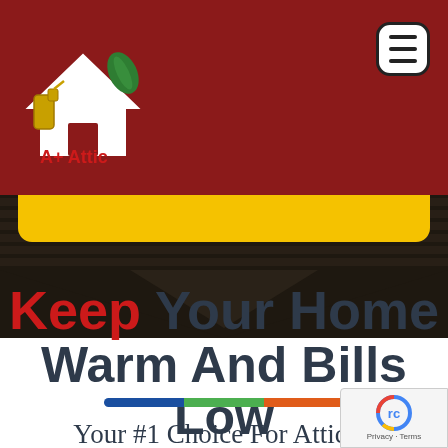[Figure (logo): A+ Attic Insulation company logo with house and spray bottle graphic on dark red header background]
[Figure (screenshot): Dark rooftop hero image with yellow rounded banner overlay and downward-pointing chevron shape]
Keep Your Home Warm And Bills Low
[Figure (infographic): Three-segment colored divider bar: blue, green, orange]
Your #1 Choice For Attic Insulation Services In Oakland